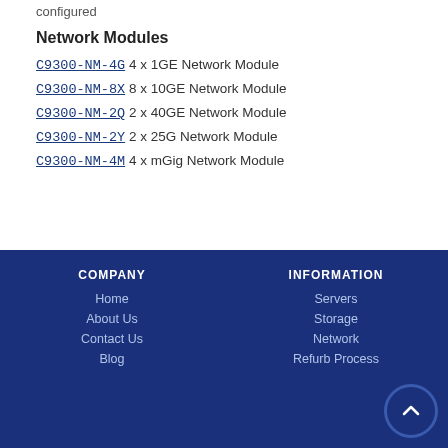configured
Network Modules
C9300-NM-4G 4 x 1GE Network Module
C9300-NM-8X 8 x 10GE Network Module
C9300-NM-2Q 2 x 40GE Network Module
C9300-NM-2Y 2 x 25G Network Module
C9300-NM-4M 4 x mGig Network Module
COMPANY: Home, About Us, Contact Us, Blog | INFORMATION: Servers, Storage, Network, Refurb Process